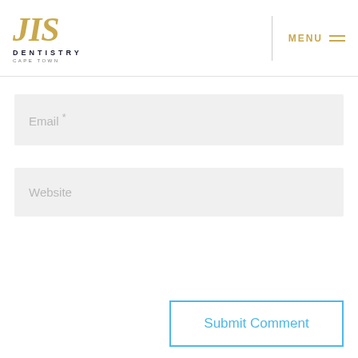JIS DENTISTRY CAPE TOWN — MENU
Email *
Website
Submit Comment